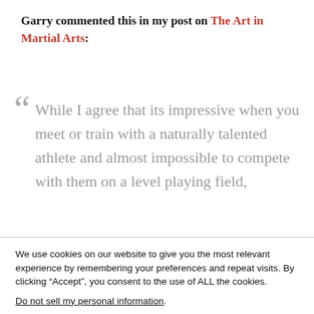Garry commented this in my post on The Art in Martial Arts:
“ While I agree that its impressive when you meet or train with a naturally talented athlete and almost impossible to compete with them on a level playing field,
We use cookies on our website to give you the most relevant experience by remembering your preferences and repeat visits. By clicking “Accept”, you consent to the use of ALL the cookies.
Do not sell my personal information.
Cookie Settings   Accept